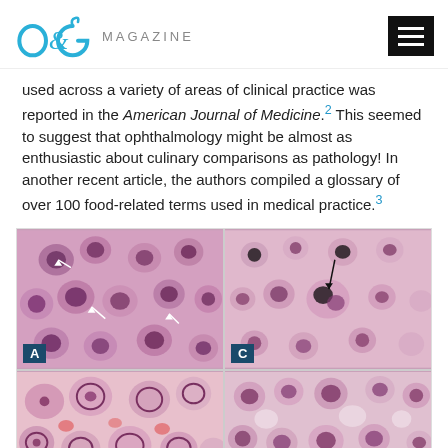O&G MAGAZINE
used across a variety of areas of clinical practice was reported in the American Journal of Medicine.² This seemed to suggest that ophthalmology might be almost as enthusiastic about culinary comparisons as pathology! In another recent article, the authors compiled a glossary of over 100 food-related terms used in medical practice.³
[Figure (photo): Four-panel microscopy image grid showing histological sections (panels A and C labeled, plus two unlabeled panels), featuring pink/purple stained cells at high magnification, consistent with hematoxylin and eosin stained tissue sections.]